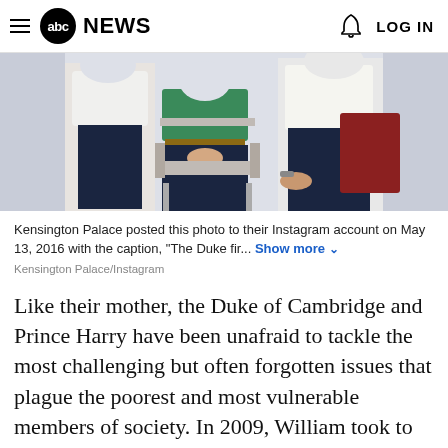abc NEWS  LOG IN
[Figure (photo): Photo of young people seated in chairs, posted by Kensington Palace to Instagram on May 13, 2016]
Kensington Palace posted this photo to their Instagram account on May 13, 2016 with the caption, "The Duke fir... Show more
Kensington Palace/Instagram
Like their mother, the Duke of Cambridge and Prince Harry have been unafraid to tackle the most challenging but often forgotten issues that plague the poorest and most vulnerable members of society. In 2009, William took to the streets himself and slept with the homeless to show solidarity with young people trying to